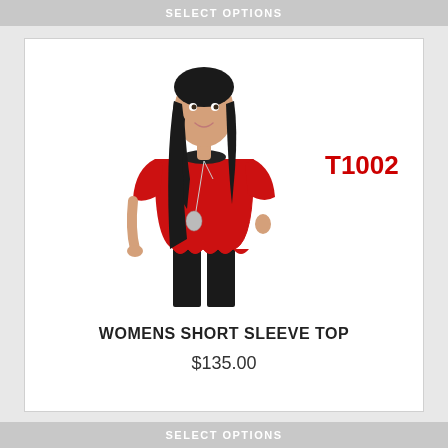SELECT OPTIONS
[Figure (photo): Woman wearing a red short sleeve top with a scalloped hem and a long necklace, paired with black pants. Product code T1002 shown in red text to the right of the model.]
WOMENS SHORT SLEEVE TOP
$135.00
SELECT OPTIONS